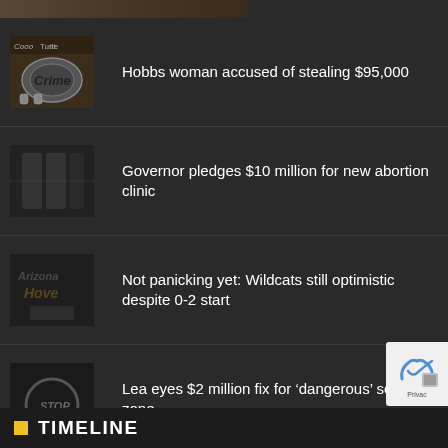[Figure (photo): Partial strip of two faces at very top of page]
Hobbs woman accused of stealing $95,000
Governor pledges $10 million for new abortion clinic
Not panicking yet: Wildcats still optimistic despite 0-2 start
Lea eyes $2 million fix for ‘dangerous’ school zone
TIMELINE